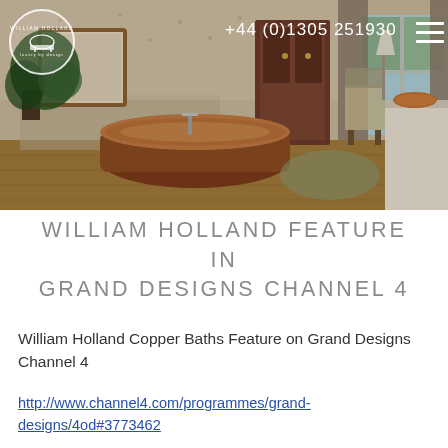[Figure (photo): Bathroom interior with a copper freestanding bathtub, wooden armoire, patterned wallpaper, draped curtains, hardwood floors, and a plant. William Holland logo circle in top-left. Phone number +44 (0)1305 251930 and hamburger menu in top-right.]
WILLIAM HOLLAND FEATURE IN GRAND DESIGNS CHANNEL 4
William Holland Copper Baths Feature on Grand Designs Channel 4
http://www.channel4.com/programmes/grand-designs/4od#3773462